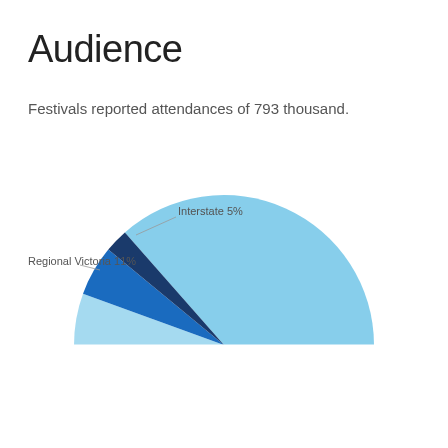Audience
Festivals reported attendances of 793 thousand.
[Figure (pie-chart): Audience breakdown]